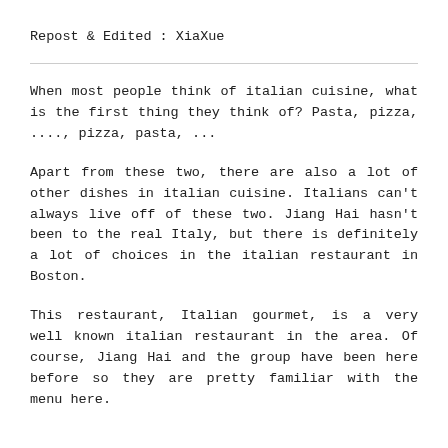Repost & Edited : XiaXue
When most people think of italian cuisine, what is the first thing they think of? Pasta, pizza, ...., pizza, pasta, ...
Apart from these two, there are also a lot of other dishes in italian cuisine. Italians can't always live off of these two. Jiang Hai hasn't been to the real Italy, but there is definitely a lot of choices in the italian restaurant in Boston.
This restaurant, Italian gourmet, is a very well known italian restaurant in the area. Of course, Jiang Hai and the group have been here before so they are pretty familiar with the menu here.